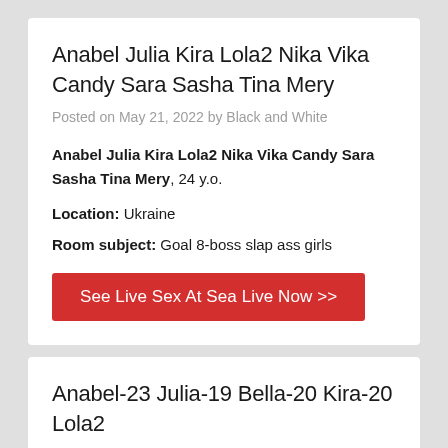Anabel Julia Kira Lola2 Nika Vika Candy Sara Sasha Tina Mery
Posted on May 21, 2022 by Black and White
Anabel Julia Kira Lola2 Nika Vika Candy Sara Sasha Tina Mery, 24 y.o.
Location: Ukraine
Room subject: Goal 8-boss slap ass girls
See Live Sex At Sea Live Now >>
Anabel-23 Julia-19 Bella-20 Kira-20 Lola2